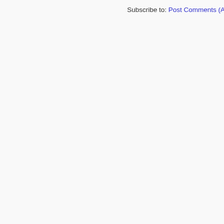Subscribe to: Post Comments (A